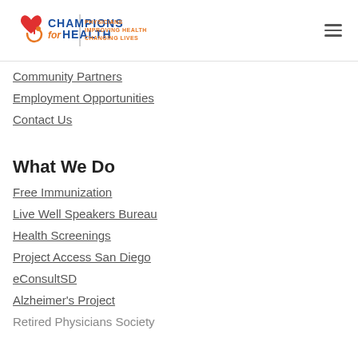[Figure (logo): Champions for Health logo with red heart and stethoscope icon, blue text 'CHAMPIONS for HEALTH', orange tagline 'PHYSICIANS IMPROVING HEALTH CHANGING LIVES']
Community Partners
Employment Opportunities
Contact Us
What We Do
Free Immunization
Live Well Speakers Bureau
Health Screenings
Project Access San Diego
eConsultSD
Alzheimer's Project
Retired Physicians Society